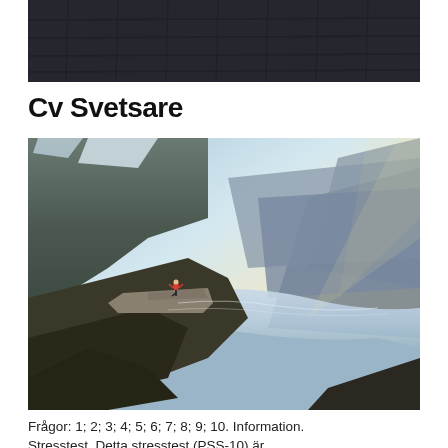[Figure (photo): Top partial photo showing a dark stone/cobblestone surface, cropped view]
Cv Svetsare
[Figure (photo): A person doing a yoga pose on a cliff rock outcrop (Trolltunga, Norway) overlooking a dramatic fjord with mountains and misty sky]
Frågor: 1; 2; 3; 4; 5; 6; 7; 8; 9; 10. Information.
Stresstest. Detta stresstest (PSS-10) är